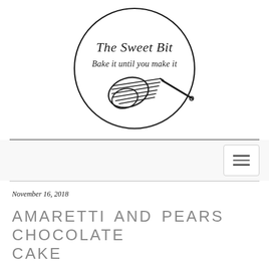[Figure (logo): The Sweet Bit logo — a circle with script text 'The Sweet Bit' and 'Bake it until you make it', overlaid with a whisk illustration]
November 16, 2018
AMARETTI AND PEARS CHOCOLATE CAKE
Jump to Recipe